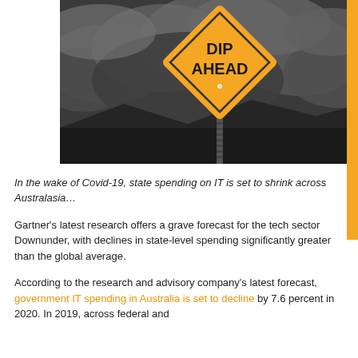[Figure (photo): A stormy dark cloudy sky background with a yellow diamond-shaped road warning sign reading 'DIP AHEAD' mounted on a post. An orange vertical bar appears on the right edge.]
In the wake of Covid-19, state spending on IT is set to shrink across Australasia…
Gartner's latest research offers a grave forecast for the tech sector Downunder, with declines in state-level spending significantly greater than the global average.
According to the research and advisory company's latest forecast, government IT spending in Australia is set to decline by 7.6 percent in 2020. In 2019, across federal and